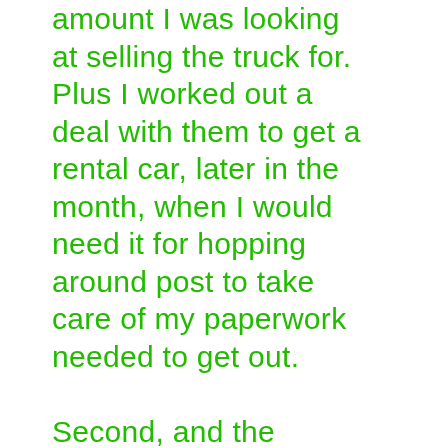amount I was looking at selling the truck for. Plus I worked out a deal with them to get a rental car, later in the month, when I would need it for hopping around post to take care of my paperwork needed to get out.

Second, and the biggest one to me, when I pulled out of